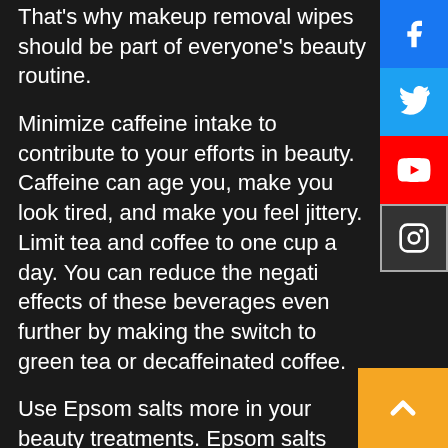That's why makeup removal wipes should be part of everyone's beauty routine.
Minimize caffeine intake to contribute to your efforts in beauty. Caffeine can age you, make you look tired, and make you feel jittery. Limit tea and coffee to one cup a day. You can reduce the negative effects of these beverages even further by making the switch to green tea or decaffeinated coffee.
Use Epsom salts more in your beauty treatments. Epsom salts provide numerous health benefits. Prepare Epsom salts with a little lavender, mix into a paste using some water. Apply it to troubled skin. Leave for several hours or even overnight. In the morning you will see improvement to your skin.
Eye Drops